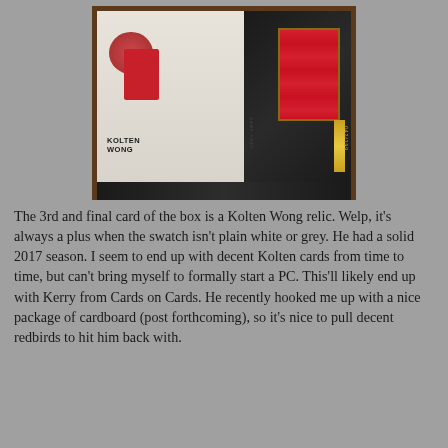[Figure (photo): A Kolten Wong baseball relic card showing the player in a St. Louis Cardinals white uniform with a red fabric swatch embedded in the card. The card has a dark marbled border and gold accents with a serial number.]
The 3rd and final card of the box is a Kolten Wong relic. Welp, it's always a plus when the swatch isn't plain white or grey. He had a solid 2017 season. I seem to end up with decent Kolten cards from time to time, but can't bring myself to formally start a PC. This'll likely end up with Kerry from Cards on Cards. He recently hooked me up with a nice package of cardboard (post forthcoming), so it's nice to pull decent redbirds to hit him back with.